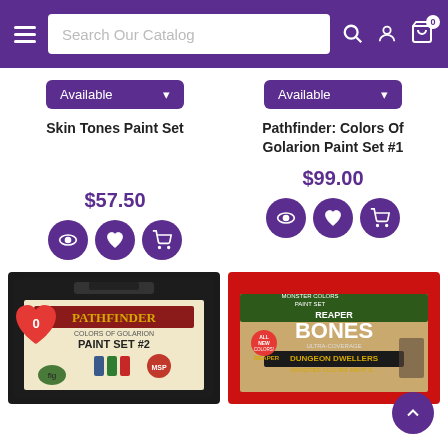Search Our Catalog — navigation header with hamburger menu, search bar, user icon, cart icon (0)
Available (dropdown)
Available (dropdown)
Skin Tones Paint Set
Pathfinder: Colors Of Golarion Paint Set #1
$57.50
$99.00
[Figure (screenshot): Three purple circular icon buttons: eye (view), heart (wishlist), cart (add to cart) for Skin Tones Paint Set]
[Figure (screenshot): Three purple circular icon buttons: eye (view), heart (wishlist), cart (add to cart) for Pathfinder Colors Of Golarion Paint Set #1]
[Figure (photo): Pathfinder Colors of Golarion Paint Set #2 product box in black carrying case]
[Figure (photo): Reaper Bones Ultra-Coverage Dungeon Dwellers Monster Colors Paint Set box with red border]